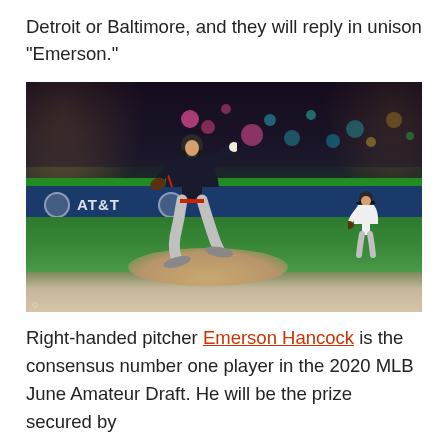Detroit or Baltimore, and they will reply in unison “Emerson.”
[Figure (photo): A right-handed baseball pitcher in mid-windup on the pitcher's mound at night, wearing a dark jersey and gray pants. An AT&T advertisement banner is visible on the outfield wall. Another player stands in the background. The stadium is lit with bright lights.]
Right-handed pitcher Emerson Hancock is the consensus number one player in the 2020 MLB June Amateur Draft. He will be the prize secured by